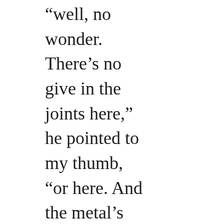“well, no wonder. There’s no give in the joints here,” he pointed to my thumb, “or here. And the metal’s all wrong, too thick, it must weigh … fifteen kilos?” He looked up toward my